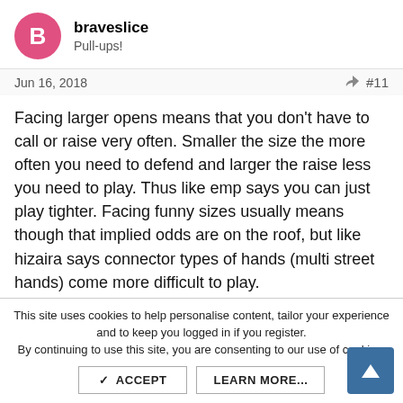braveslice
Pull-ups!
Jun 16, 2018  #11
Facing larger opens means that you don't have to call or raise very often. Smaller the size the more often you need to defend and larger the raise less you need to play. Thus like emp says you can just play tighter. Facing funny sizes usually means though that implied odds are on the roof, but like hizaira says connector types of hands (multi street hands) come more difficult to play.
Reply
This site uses cookies to help personalise content, tailor your experience and to keep you logged in if you register.
By continuing to use this site, you are consenting to our use of cookies.
ACCEPT
LEARN MORE...